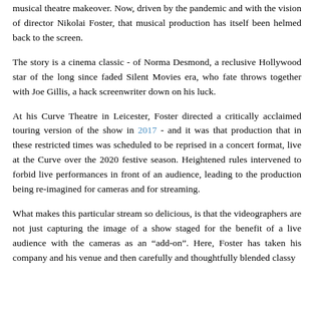musical theatre makeover. Now, driven by the pandemic and with the vision of director Nikolai Foster, that musical production has itself been helmed back to the screen.
The story is a cinema classic - of Norma Desmond, a reclusive Hollywood star of the long since faded Silent Movies era, who fate throws together with Joe Gillis, a hack screenwriter down on his luck.
At his Curve Theatre in Leicester, Foster directed a critically acclaimed touring version of the show in 2017 - and it was that production that in these restricted times was scheduled to be reprised in a concert format, live at the Curve over the 2020 festive season. Heightened rules intervened to forbid live performances in front of an audience, leading to the production being re-imagined for cameras and for streaming.
What makes this particular stream so delicious, is that the videographers are not just capturing the image of a show staged for the benefit of a live audience with the cameras as an “add-on”. Here, Foster has taken his company and his venue and then carefully and thoughtfully blended classy